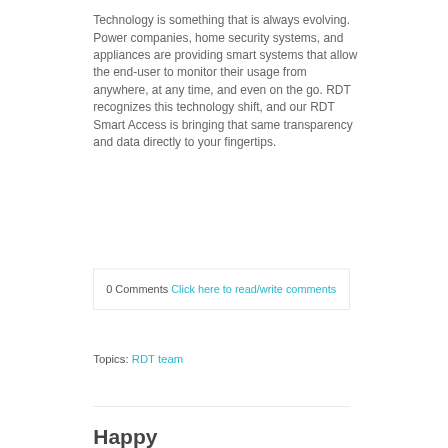Technology is something that is always evolving. Power companies, home security systems, and appliances are providing smart systems that allow the end-user to monitor their usage from anywhere, at any time, and even on the go. RDT recognizes this technology shift, and our RDT Smart Access is bringing that same transparency and data directly to your fingertips.
Read More
0 Comments Click here to read/write comments
Topics: RDT team
Happy Retirement...